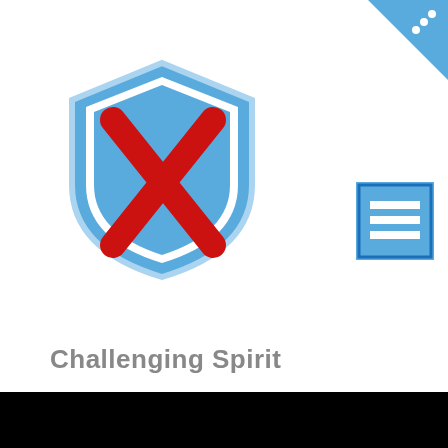[Figure (logo): Blue shield logo with red X cross mark inside]
Challenging Spirit
[Figure (screenshot): Black rectangle representing a video or dark image area]
We use cookies on our website to give you the most relevant experience by remembering your preferences and repeat visits. By clicking “Accept”,